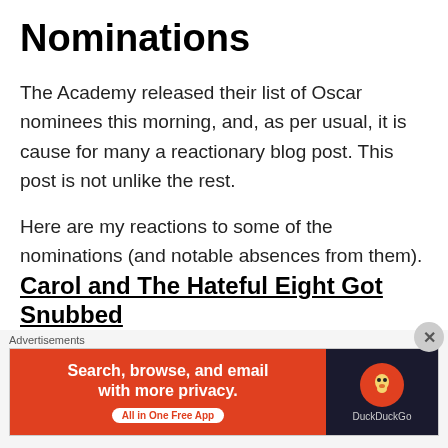Nominations
The Academy released their list of Oscar nominees this morning, and, as per usual, it is cause for many a reactionary blog post. This post is not unlike the rest.
Here are my reactions to some of the nominations (and notable absences from them).
Carol and The Hateful Eight Got Snubbed
[Figure (photo): Partial photo strip showing a dark, icy or wintry outdoor scene with blue tones]
Advertisements
[Figure (infographic): DuckDuckGo advertisement banner: 'Search, browse, and email with more privacy. All in One Free App' with DuckDuckGo logo on dark right panel]